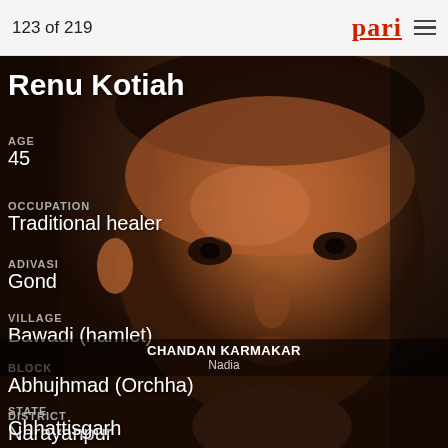123 of 219
Renu Kotiah
[Figure (photo): Close-up portrait of a young child with brown skin, short dark hair, looking directly at camera with a slight expression. Dark background tones.]
AGE
45
OCCUPATION
Traditional healer
ADIVASI
Gond
VILLAGE
Bawadi (hamlet)
BLOCK
Abhujhmad (Orchha)
DISTRICT
Narayanpur
CHANDAN KARMAKAR
Nadia
STATE
Chhattisgarh